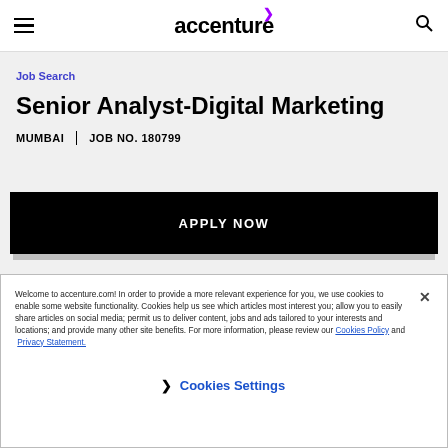accenture
Job Search
Senior Analyst-Digital Marketing
MUMBAI | JOB NO. 180799
APPLY NOW
Welcome to accenture.com! In order to provide a more relevant experience for you, we use cookies to enable some website functionality. Cookies help us see which articles most interest you; allow you to easily share articles on social media; permit us to deliver content, jobs and ads tailored to your interests and locations; and provide many other site benefits. For more information, please review our Cookies Policy and Privacy Statement.
Cookies Settings